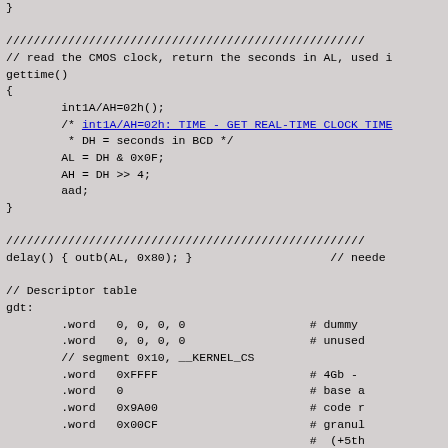}

////////////////////////////////////////////////////
// read the CMOS clock, return the seconds in AL, used i
gettime()
{
        int1A/AH=02h();
        /* int1A/AH=02h: TIME - GET REAL-TIME CLOCK TIME
         * DH = seconds in BCD */
        AL = DH & 0x0F;
        AH = DH >> 4;
        aad;
}

////////////////////////////////////////////////////
delay() { outb(AL, 0x80); }                    // neede

// Descriptor table
gdt:
        .word   0, 0, 0, 0                  # dummy
        .word   0, 0, 0, 0                  # unused
        // segment 0x10, __KERNEL_CS
        .word   0xFFFF                      # 4Gb -
        .word   0                           # base a
        .word   0x9A00                      # code r
        .word   0x00CF                      # granul
                                            #  (+5th
        // segment 0x18, __KERNEL_DS
        .word   0xFFFF                      # 4Gb -
        .word   0                           # base a